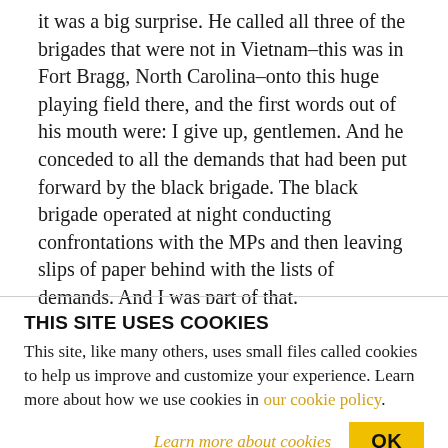it was a big surprise. He called all three of the brigades that were not in Vietnam–this was in Fort Bragg, North Carolina–onto this huge playing field there, and the first words out of his mouth were: I give up, gentlemen. And he conceded to all the demands that had been put forward by the black brigade. The black brigade operated at night conducting confrontations with the MPs and then leaving slips of paper behind with the lists of demands. And I was part of that.
THIS SITE USES COOKIES
This site, like many others, uses small files called cookies to help us improve and customize your experience. Learn more about how we use cookies in our cookie policy.
Learn more about cookies   OK